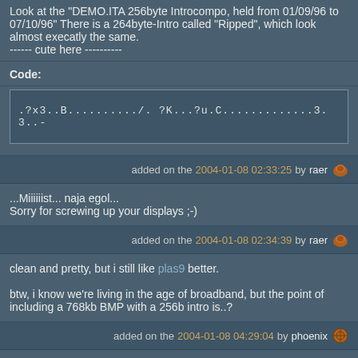Look at the "DEMO.ITA 256byte Introcompo, held from 01/09/96 to 07/10/96" There is a 264byte-Intro called "Ripped", which look almost execatly the same.
------ cute here ----------
Code:
[Figure (other): Code block containing obfuscated text: .?x3..B........../. ?K...?u.C.............3.3..-]
added on the 2004-01-08 02:33:25 by raer
...Miiiiiist... naja egol...
Sorry for screwing up your displays ;-)
added on the 2004-01-08 02:34:39 by raer
clean and pretty, but i still like plas9 better.

btw, i know we're living in the age of broadband, but the point of including a 768kb BMP with a 256b intro is..?
added on the 2004-01-08 04:29:04 by phoenix
Works fine under wine as well, but due to no escape you probably don't WANT to (: